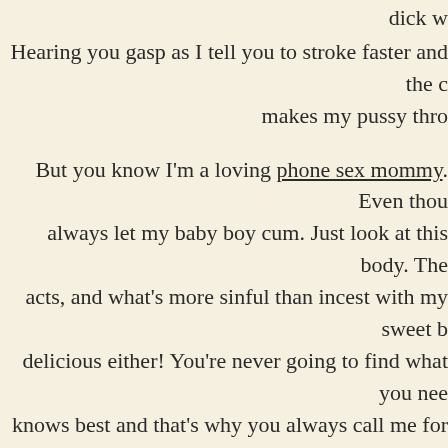dick w
Hearing you gasp as I tell you to stroke faster and the c makes my pussy thro
But you know I'm a loving phone sex mommy. Even thou always let my baby boy cum. Just look at this body. The acts, and what's more sinful than incest with my sweet b delicious either! You're never going to find what you nee knows best and that's why you always call me for matur what I claim I can do to get you off and m
Just dial 1-800-293-3074 for the best MILF phone sex e very happy boy when I'm done w
http://www.911jerkoff.com
This entry was posted in Taboo Phone Sex and tagged 911 Jerk Off. Book
← Live Phone Sex